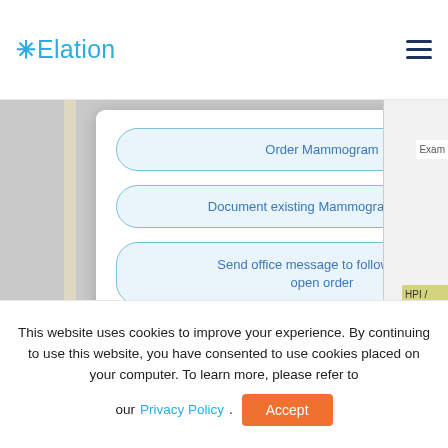[Figure (screenshot): Elation EHR website header with logo and hamburger menu]
[Figure (screenshot): Elation EHR clinical decision support modal showing four action buttons: Order Mammogram, Document existing Mammogram details, Send office message to follow-up on open order, Document exclusion: patient had a bilateral mastectomy]
This website uses cookies to improve your experience. By continuing to use this website, you have consented to use cookies placed on your computer. To learn more, please refer to our Privacy Policy.